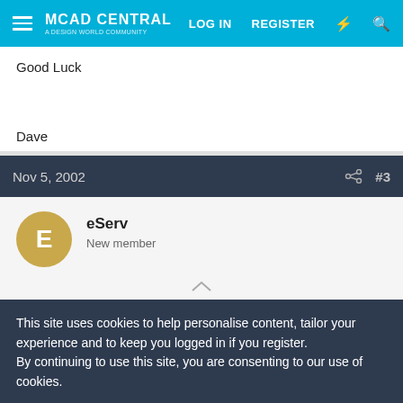MCAD CENTRAL | LOG IN | REGISTER
Good Luck
Dave
Nov 5, 2002 #3
eServ
New member
This site uses cookies to help personalise content, tailor your experience and to keep you logged in if you register.
By continuing to use this site, you are consenting to our use of cookies.
✓ Accept | Learn more...